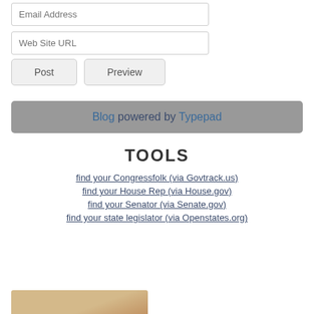Email Address
Web Site URL
Post
Preview
Blog powered by Typepad
TOOLS
find your Congressfolk (via Govtrack.us)
find your House Rep (via House.gov)
find your Senator (via Senate.gov)
find your state legislator (via Openstates.org)
[Figure (photo): Partial view of a tan/beige colored image at the bottom of the page]